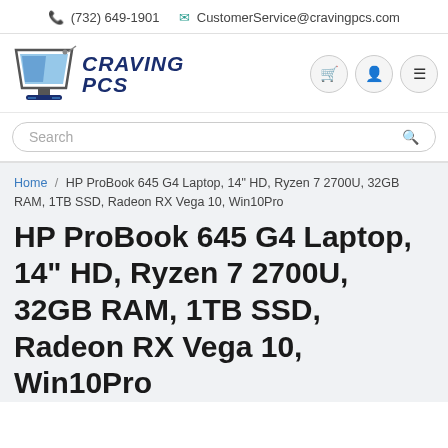(732) 649-1901  CustomerService@cravingpcs.com
[Figure (logo): Craving PCs logo with monitor icon and stylized text CRAVING PCS]
Search
Home / HP ProBook 645 G4 Laptop, 14" HD, Ryzen 7 2700U, 32GB RAM, 1TB SSD, Radeon RX Vega 10, Win10Pro
HP ProBook 645 G4 Laptop, 14" HD, Ryzen 7 2700U, 32GB RAM, 1TB SSD, Radeon RX Vega 10, Win10Pro